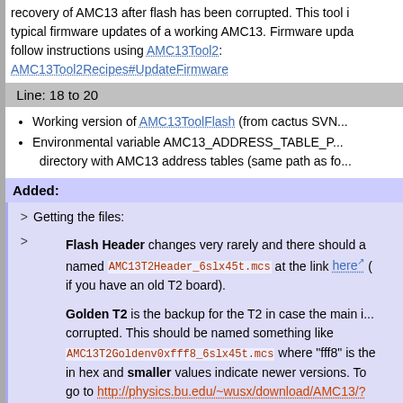recovery of AMC13 after flash has been corrupted. This tool is not for typical firmware updates of a working AMC13. Firmware updates should follow instructions using AMC13Tool2: AMC13Tool2Recipes#UpdateFirmware
Line: 18 to 20
Working version of AMC13ToolFlash (from cactus SVN...)
Environmental variable AMC13_ADDRESS_TABLE_P... directory with AMC13 address tables (same path as fo...)
Added:
> Getting the files:
> Flash Header changes very rarely and there should a... named AMC13T2Header_6slx45t.mcs at the link here (...) if you have an old T2 board).
Golden T2 is the backup for the T2 in case the main i... corrupted. This should be named something like AMC13T2Goldenv0xfff8_6slx45t.mcs where "fff8" is the... in hex and smaller values indicate newer versions. To... go to http://physics.bu.edu/~wusx/download/AMC13/? find the newest file named as above.